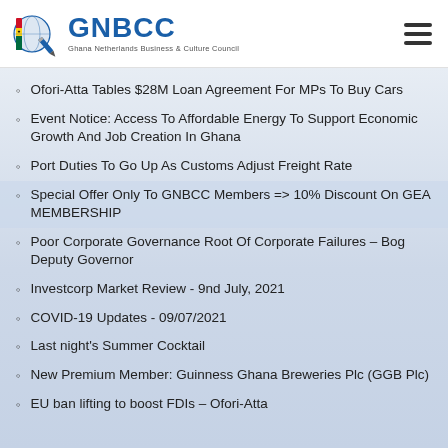GNBCC — Ghana Netherlands Business & Culture Council
Ofori-Atta Tables $28M Loan Agreement For MPs To Buy Cars
Event Notice: Access To Affordable Energy To Support Economic Growth And Job Creation In Ghana
Port Duties To Go Up As Customs Adjust Freight Rate
Special Offer Only To GNBCC Members => 10% Discount On GEA MEMBERSHIP
Poor Corporate Governance Root Of Corporate Failures – Bog Deputy Governor
Investcorp Market Review - 9nd July, 2021
COVID-19 Updates - 09/07/2021
Last night's Summer Cocktail
New Premium Member: Guinness Ghana Breweries Plc (GGB Plc)
EU ban lifting to boost FDIs – Ofori-Atta